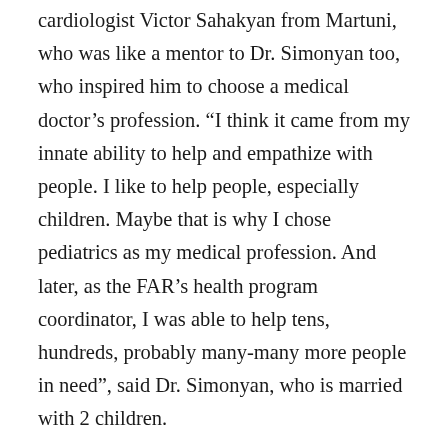cardiologist Victor Sahakyan from Martuni, who was like a mentor to Dr. Simonyan too, who inspired him to choose a medical doctor’s profession. “I think it came from my innate ability to help and empathize with people. I like to help people, especially children. Maybe that is why I chose pediatrics as my medical profession. And later, as the FAR’s health program coordinator, I was able to help tens, hundreds, probably many-many more people in need”, said Dr. Simonyan, who is married with 2 children.
During and after the 44-day war in Artsakh, doctors were overloaded with not only treating wounded soldiers, but also the local civilians, who had severe health problems. “They needed our support and the